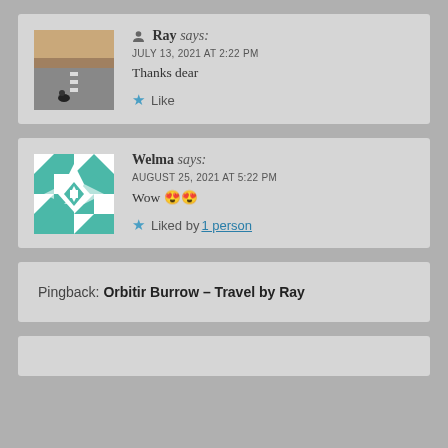Ray says: JULY 13, 2021 AT 2:22 PM
Thanks dear
★ Like
Welma says: AUGUST 25, 2021 AT 5:22 PM
Wow 😍😍
★ Liked by 1 person
Pingback: Orbitir Burrow – Travel by Ray